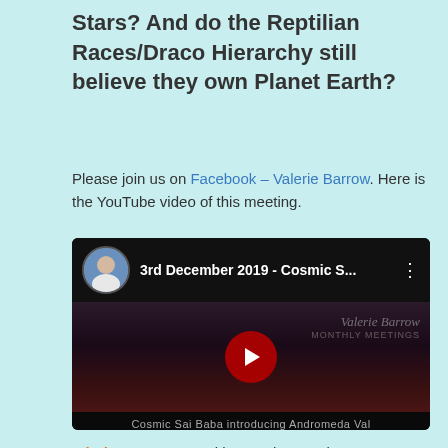Stars? And do the Reptilian Races/Draco Hierarchy still believe they own Planet Earth?
Please join us on Facebook – Valerie Barrow. Here is the YouTube video of this meeting.
[Figure (screenshot): YouTube video thumbnail showing '3rd December 2019 - Cosmic S...' with a circular avatar of a woman, play button, and subtitle text 'Cosmic Sai Baba introducing Andromeda Val from the Galaxy Andromeda M31 / 3rd December 2019']
Valerie Barrow: So with great love and respect we're calling upon Cosmic Sai Baba for this, who is the 3rd...